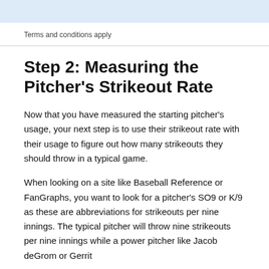Terms and conditions apply
Step 2: Measuring the Pitcher's Strikeout Rate
Now that you have measured the starting pitcher's usage, your next step is to use their strikeout rate with their usage to figure out how many strikeouts they should throw in a typical game.
When looking on a site like Baseball Reference or FanGraphs, you want to look for a pitcher's SO9 or K/9 as these are abbreviations for strikeouts per nine innings. The typical pitcher will throw nine strikeouts per nine innings while a power pitcher like Jacob deGrom or Gerrit